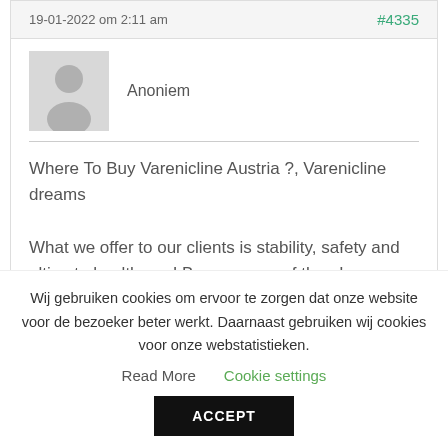19-01-2022 om 2:11 am   #4335
Anoniem
Where To Buy Varenicline Austria ?, Varenicline dreams

What we offer to our clients is stability, safety and ultimate healthcare! Become one of them!
Wij gebruiken cookies om ervoor te zorgen dat onze website voor de bezoeker beter werkt. Daarnaast gebruiken wij cookies voor onze webstatistieken.  Read More  Cookie settings
ACCEPT